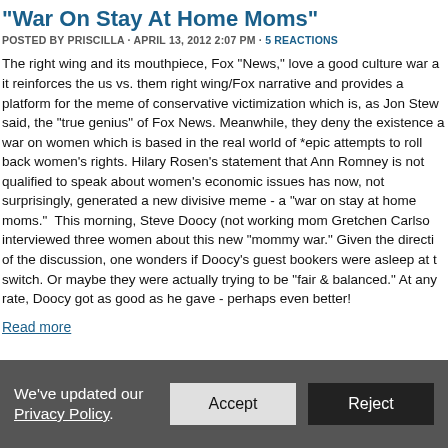"War On Stay At Home Moms"
POSTED BY PRISCILLA · APRIL 13, 2012 2:07 PM · 5 REACTIONS
The right wing and its mouthpiece, Fox "News," love a good culture war as it reinforces the us vs. them right wing/Fox narrative and provides a platform for the meme of conservative victimization which is, as Jon Stewart said, the "true genius" of Fox News. Meanwhile, they deny the existence of a war on women which is based in the real world of *epic attempts to roll back women's rights. Hilary Rosen's statement that Ann Romney is not qualified to speak about women's economic issues has now, not surprisingly, generated a new divisive meme - a "war on stay at home moms."  This morning, Steve Doocy (not working mom Gretchen Carlson) interviewed three women about this new "mommy war." Given the direction of the discussion, one wonders if Doocy's guest bookers were asleep at the switch. Or maybe they were actually trying to be "fair & balanced." At any rate, Doocy got as good as he gave - perhaps even better!
Read more
We've updated our Privacy Policy
Accept
Reject